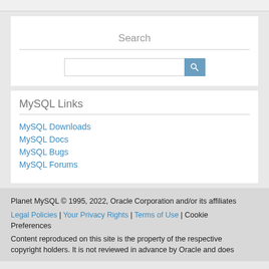Search
[Figure (screenshot): Search input box with a blue search button containing a magnifying glass icon]
MySQL Links
MySQL Downloads
MySQL Docs
MySQL Bugs
MySQL Forums
Planet MySQL © 1995, 2022, Oracle Corporation and/or its affiliates
Legal Policies | Your Privacy Rights | Terms of Use | Cookie Preferences
Content reproduced on this site is the property of the respective copyright holders. It is not reviewed in advance by Oracle and does